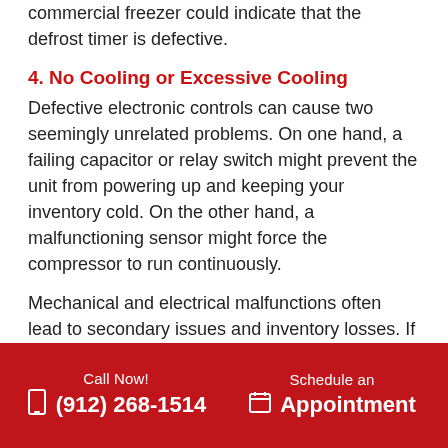commercial freezer could indicate that the defrost timer is defective.
4. No Cooling or Excessive Cooling
Defective electronic controls can cause two seemingly unrelated problems. On one hand, a failing capacitor or relay switch might prevent the unit from powering up and keeping your inventory cold. On the other hand, a malfunctioning sensor might force the compressor to run continuously.
Mechanical and electrical malfunctions often lead to secondary issues and inventory losses. If you've noticed any of these warning signs, do
Call Now! (912) 268-1514  Schedule an Appointment